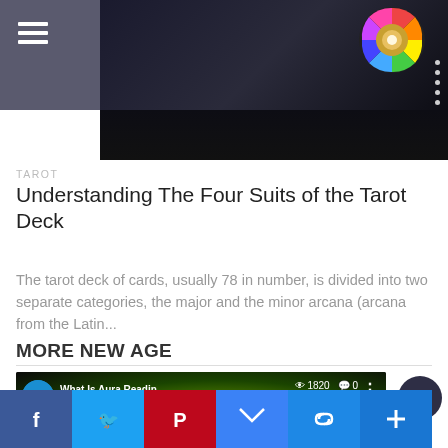[Figure (screenshot): Website header with hamburger menu icon on dark gray/purple background, colorful circular logo/wheel on top right, dark hero image with tarot card]
TAROT
Understanding The Four Suits of the Tarot Deck
The tarot deck of cards, usually 78 in number, is divided into two separate categories, the major and the minor arcana (arcana from the Latin...
MORE NEW AGE
[Figure (screenshot): Video thumbnail showing 'What Is Aura Readin...' with 1820 views, 0 comments, channel icon, YouTube play button, colorful aura background]
[Figure (other): Social share buttons: Facebook, Twitter, Pinterest, Email, Link, Plus]